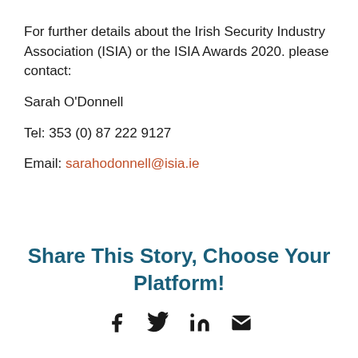For further details about the Irish Security Industry Association (ISIA) or the ISIA Awards 2020. please contact:
Sarah O'Donnell
Tel: 353 (0) 87 222 9127
Email: sarahodonnell@isia.ie
Share This Story, Choose Your Platform!
[Figure (infographic): Social share icons: Facebook, Twitter, LinkedIn, Email]